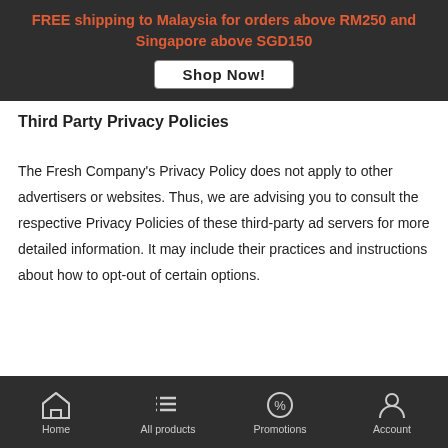[Figure (screenshot): Dark banner with orange text advertising free shipping promotion and a Shop Now button]
Third Party Privacy Policies
The Fresh Company's Privacy Policy does not apply to other advertisers or websites. Thus, we are advising you to consult the respective Privacy Policies of these third-party ad servers for more detailed information. It may include their practices and instructions about how to opt-out of certain options.
Home  All products  Promotions  Account